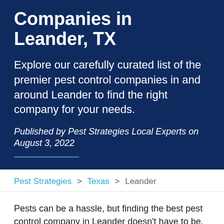Companies in Leander, TX
Explore our carefully curated list of the premier pest control companies in and around Leander to find the right company for your needs.
Published by Pest Strategies Local Experts on August 3, 2022
Pest Strategies > Texas > Leander
Pests can be a hassle, but finding the best pest control company in Leander doesn't have to be. Of course, the job for which you hire a pest control company may depend on where your home is. If